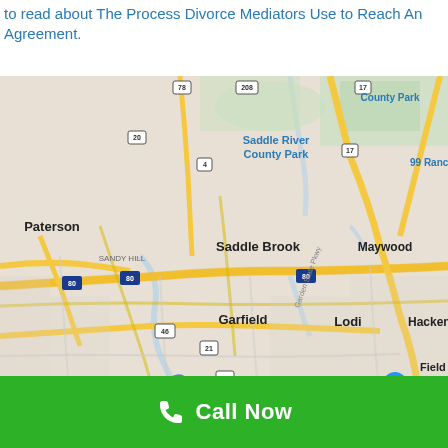to read about The Process Divorce Mediators Use to Reach An Agreement.
[Figure (map): Google Maps screenshot showing New Jersey area including Paterson, Saddle Brook, Garfield, Lodi, Passaic, Clifton, Teterboro, Hasbrouck Heights, Maywood, Hackensack, and other nearby locations. Shows road network with I-80, Route 46, Route 21, Garden State Pkwy, and other roads. Blue location pin for Supreme Discount Warehouse. Shows Urban Air Trampoline and Adventure Park marker.]
Call Now